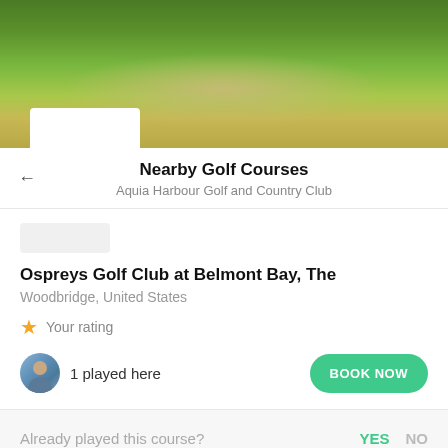[Figure (photo): Golf course photo showing green fairway with trees in background and a sandy hill/mound under bright sunlight]
Nearby Golf Courses
Aquia Harbour Golf and Country Club
Ospreys Golf Club at Belmont Bay, The
Woodbridge, United States
Your rating
1 played here
BOOK NOW
Already played this course?
YES
NO